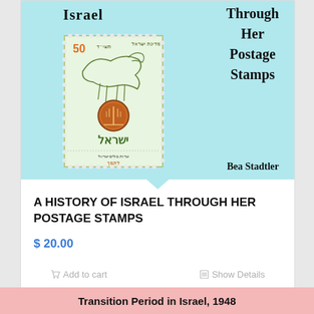[Figure (illustration): Book cover of 'A History of Israel Through Her Postage Stamps' by Bea Stadtler, with light blue background, Hebrew postage stamp illustration, and stylized calligraphic text.]
A HISTORY OF ISRAEL THROUGH HER POSTAGE STAMPS
$ 20.00
Add to cart
Show Details
Transition Period in Israel, 1948